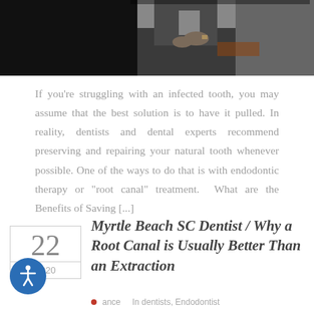[Figure (photo): Cropped photo of a person sitting, partially visible, showing torso and crossed hands/lap, dark background]
If you're struggling with an infected tooth, you may assume that the best solution is to have it pulled. In reality, dentists and dental experts recommend preserving and repairing your natural tooth whenever possible. One of the ways to do that is with endodontic therapy or "root canal" treatment. What are the Benefits of Saving [...]
Myrtle Beach SC Dentist / Why a Root Canal is Usually Better Than an Extraction
22  2020  In dentists, Endodontist